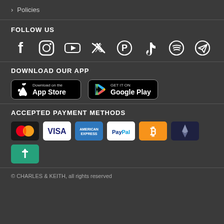> Policies
FOLLOW US
[Figure (infographic): Social media icons row: Facebook, Instagram, YouTube, Twitter, Pinterest, TikTok, Spotify, Telegram]
DOWNLOAD OUR APP
[Figure (infographic): Two app store download buttons: Download on the App Store and Get it on Google Play]
ACCEPTED PAYMENT METHODS
[Figure (infographic): Payment method icons: Mastercard, Visa, American Express, PayPal, Bitcoin, Ethereum, Tether]
© CHARLES & KEITH, all rights reserved